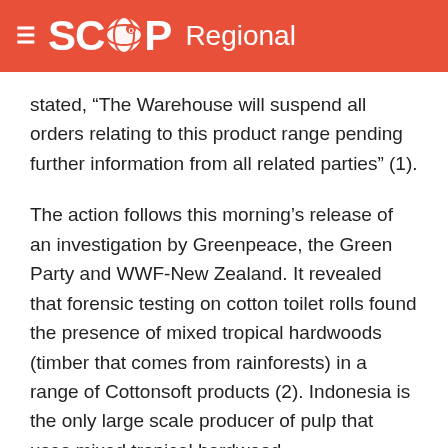SCOOP Regional
stated, “The Warehouse will suspend all orders relating to this product range pending further information from all related parties” (1).
The action follows this morning’s release of an investigation by Greenpeace, the Green Party and WWF-New Zealand. It revealed that forensic testing on cotton toilet rolls found the presence of mixed tropical hardwoods (timber that comes from rainforests) in a range of Cottonsoft products (2). Indonesia is the only large scale producer of pulp that uses mixed tropical hardwood.
Greenpeace campaigner Nathan Argent said, “This is